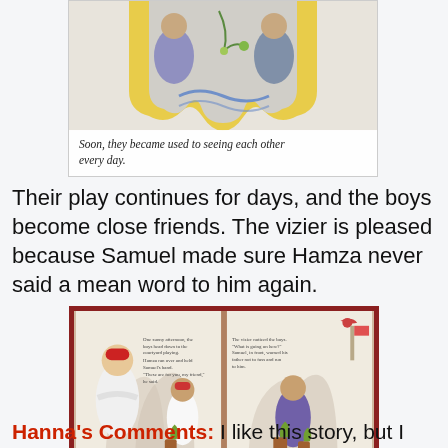[Figure (illustration): Illustration from a children's book showing two characters through a stylized window/arch shape with yellow border, with text caption below reading 'Soon, they became used to seeing each other every day.']
Soon, they became used to seeing each other every day.
Their play continues for days, and the boys become close friends. The vizier is pleased because Samuel made sure Hamza never said a mean word to him again.
[Figure (illustration): Open children's book spread showing two boys and an older man in a marketplace or courtyard setting with arches, pots of plants, and a red bird. Text on the left page begins 'One sunny afternoon, the boys head down to the courtyard...' and on the right 'The vizier noticed the boys...' Samuel, dressed in white, is on the left; Hamza, in purple, is on the right.]
Hanna's Comments: I like this story, but I offer a